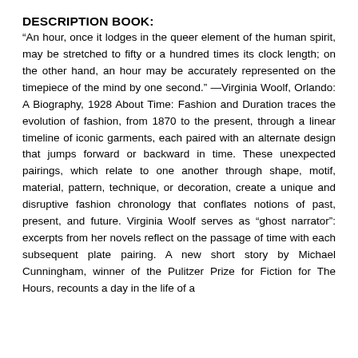DESCRIPTION BOOK:
“An hour, once it lodges in the queer element of the human spirit, may be stretched to fifty or a hundred times its clock length; on the other hand, an hour may be accurately represented on the timepiece of the mind by one second.” —Virginia Woolf, Orlando: A Biography, 1928 About Time: Fashion and Duration traces the evolution of fashion, from 1870 to the present, through a linear timeline of iconic garments, each paired with an alternate design that jumps forward or backward in time. These unexpected pairings, which relate to one another through shape, motif, material, pattern, technique, or decoration, create a unique and disruptive fashion chronology that conflates notions of past, present, and future. Virginia Woolf serves as “ghost narrator”: excerpts from her novels reflect on the passage of time with each subsequent plate pairing. A new short story by Michael Cunningham, winner of the Pulitzer Prize for Fiction for The Hours, recounts a day in the life of a